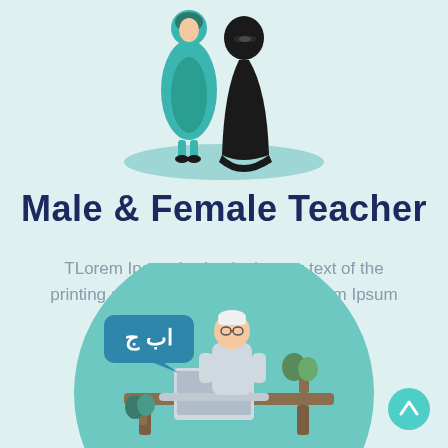[Figure (illustration): Two female figures standing together - one in a blue-green outfit and one in a black abaya/niqab, on a teal oval ground shadow]
Male & Female Teacher
TLorem Ipsum is simply dummy text of the printing and typesetting industry. Lorem Ipsum has been the industry's
[Figure (illustration): Male teacher figure wearing white cap and glasses, sitting at a desk with a laptop, with a teal speech bubble showing Arabic letters 'ا ب ج', set inside a large teal circular background with plants]
[Figure (illustration): Cyan circular scroll-to-top button with upward arrow icon, in the bottom right corner]